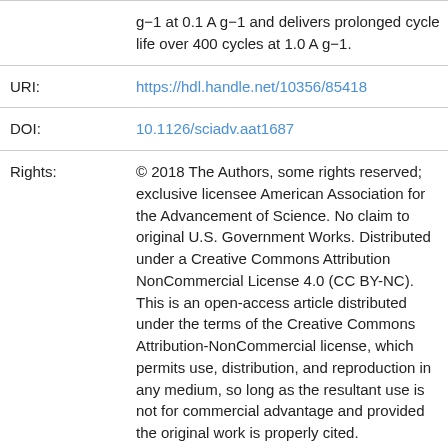| Field | Value |
| --- | --- |
|  | g−1 at 0.1 A g−1 and delivers prolonged cycle life over 400 cycles at 1.0 A g−1. |
| URI: | https://hdl.handle.net/10356/85418 |
| DOI: | 10.1126/sciadv.aat1687 |
| Rights: | © 2018 The Authors, some rights reserved; exclusive licensee American Association for the Advancement of Science. No claim to original U.S. Government Works. Distributed under a Creative Commons Attribution NonCommercial License 4.0 (CC BY-NC). This is an open-access article distributed under the terms of the Creative Commons Attribution-NonCommercial license, which permits use, distribution, and reproduction in any medium, so long as the resultant use is not for commercial advantage and provided the original work is properly cited. |
| Fulltext | open |